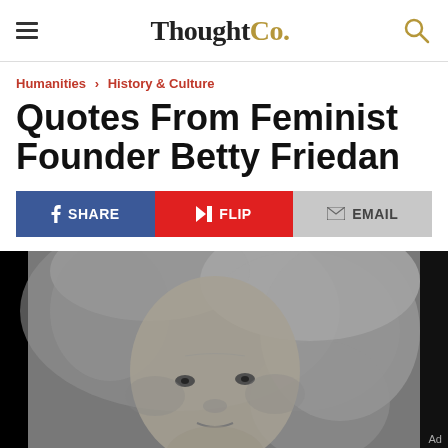ThoughtCo.
Humanities › History & Culture
Quotes From Feminist Founder Betty Friedan
SHARE | FLIP | EMAIL
[Figure (photo): Black and white portrait photograph of Betty Friedan, an older woman with long light hair, looking slightly to the side]